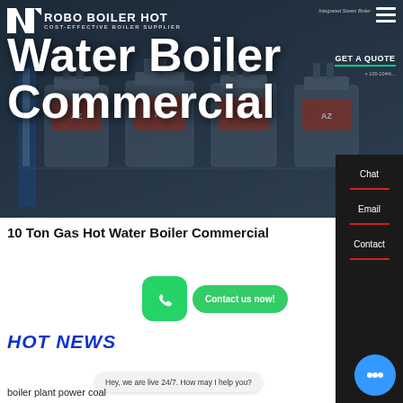[Figure (screenshot): Website hero banner for ROBO BOILER HOT showing industrial boiler equipment, logo, tagline COST-EFFECTIVE BOILER SUPPLIER, Water Boiler Commercial headline, GET A QUOTE button, and navigation hamburger menu with blue/dark background]
Water Boiler Commercial
10 Ton Gas Hot Water Boiler Commercial
HOT NEWS
Hey, we are live 24/7. How may I help you?
boiler plant power coal